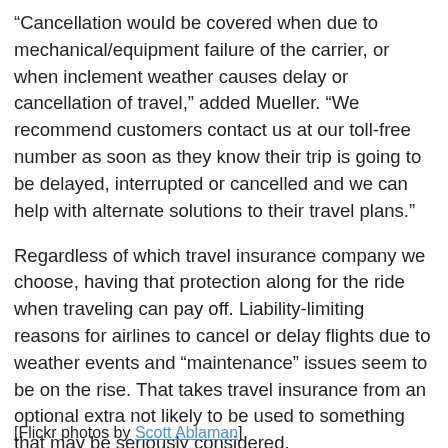“Cancellation would be covered when due to mechanical/equipment failure of the carrier, or when inclement weather causes delay or cancellation of travel,” added Mueller. “We recommend customers contact us at our toll-free number as soon as they know their trip is going to be delayed, interrupted or cancelled and we can help with alternate solutions to their travel plans.”
Regardless of which travel insurance company we choose, having that protection along for the ride when traveling can pay off. Liability-limiting reasons for airlines to cancel or delay flights due to weather events and “maintenance” issues seem to be on the rise. That takes travel insurance from an optional extra not likely to be used to something that may be seriously considered.
[Flickr photos by Scott Ablaman]